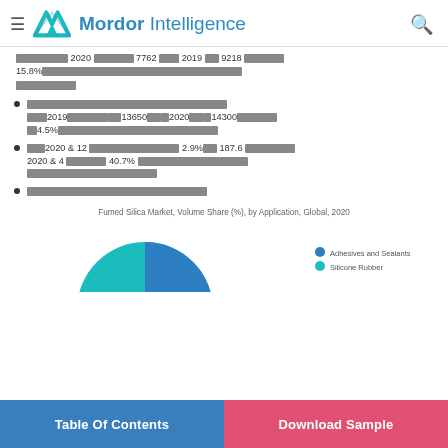Mordor Intelligence
[corrupted text] 2020 [corrupted] 7762 [corrupted] 2019 [corrupted] 9218 [corrupted] 15.8% [corrupted text continued]
[corrupted] 2019 [corrupted] 13650 [corrupted] 2020 [corrupted] 14300 [corrupted] 4.5% [corrupted]
[corrupted] 2020 [corrupted] 12 [corrupted] 2.9% [corrupted] 187.6 [corrupted] 2020 [corrupted] 4 [corrupted] 40.7% [corrupted]
[corrupted text]
Fumed Silica Market, Volume Share (%), by Application, Global, 2020
[Figure (pie-chart): Partial pie chart visible with teal/blue segments; legend shows Adhesives and Sealants, Silicone Rubber]
Table Of Contents | Download Sample